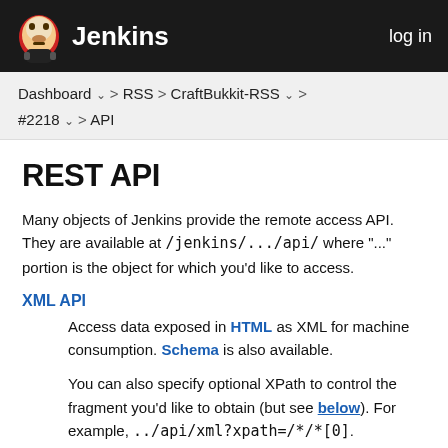Jenkins  log in
Dashboard > RSS > CraftBukkit-RSS > #2218 > API
REST API
Many objects of Jenkins provide the remote access API. They are available at /jenkins/.../api/ where "..." portion is the object for which you'd like to access.
XML API
Access data exposed in HTML as XML for machine consumption. Schema is also available.
You can also specify optional XPath to control the fragment you'd like to obtain (but see below). For example, ../api/xml?xpath=/*/*[0].